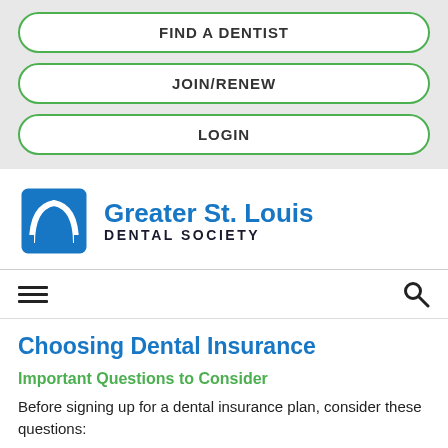FIND A DENTIST
JOIN/RENEW
LOGIN
[Figure (logo): Greater St. Louis Dental Society logo with blue arch/gateway icon and blue and dark text]
Choosing Dental Insurance
Important Questions to Consider
Before signing up for a dental insurance plan, consider these questions: